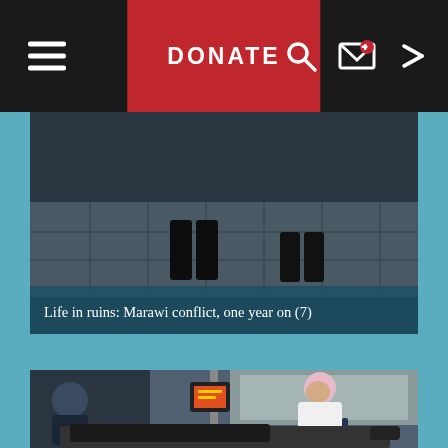DONATE
[Figure (photo): Dark interior scene showing the lower half of two people standing on a tiled floor, likely a hallway or damaged building interior. Caption reads: Life in ruins: Marawi conflict, one year on (7)]
Life in ruins: Marawi conflict, one year on (7)
[Figure (photo): Hospital scene showing a nurse wearing a pink hijab and white uniform attending to a patient lying on a bed. Medical equipment including monitors visible in the background.]